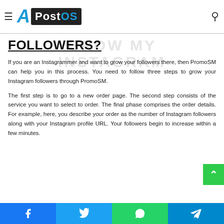APostOS (logo)
HOW DO I USE PROMOS TO GROW MY INSTAGRAM FOLLOWERS?
If you are an Instagrammer and want to grow your followers there, then PromoSM can help you in this process. You need to follow three steps to grow your Instagram followers through PromoSM.
The first step is to go to a new order page. The second step consists of the service you want to select to order. The final phase comprises the order details. For example, here, you describe your order as the number of Instagram followers along with your Instagram profile URL. Your followers begin to increase within a few minutes.
Facebook | Twitter | WhatsApp | Telegram